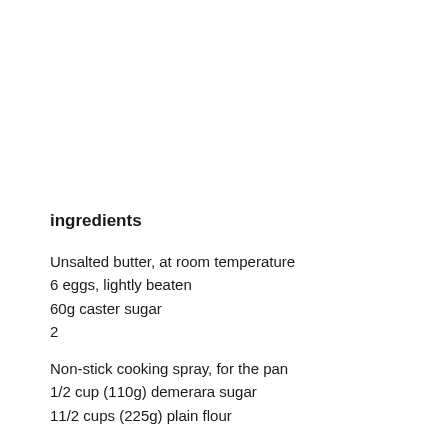ingredients
Unsalted butter, at room temperature
6 eggs, lightly beaten
60g caster sugar
2
Non-stick cooking spray, for the pan
1/2 cup (110g) demerara sugar
11/2 cups (225g) plain flour